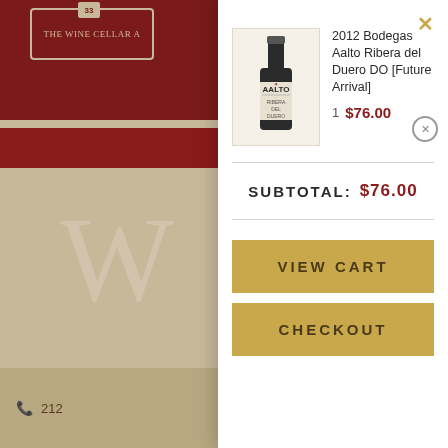[Figure (screenshot): Background wine cellar website with dark red header showing THE WINE CELLAR logo, tan/beige body area, and phone number footer.]
2012 Bodegas Aalto Ribera del Duero DO [Future Arrival]
1  $76.00
SUBTOTAL: $76.00
VIEW CART
CHECKOUT